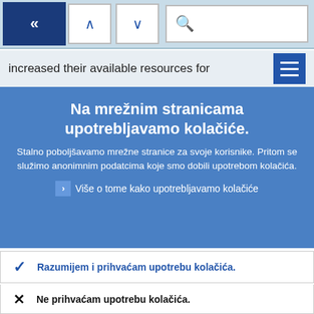[Figure (screenshot): Browser toolbar with back button (double left chevron, dark blue), up and down navigation arrows, and a search bar with magnifying glass icon on a light blue background]
increased their available resources for
Na mrežnim stranicama upotrebljavamo kolačiće.
Stalno poboljšavamo mrežne stranice za svoje korisnike. Pritom se služimo anonimnim podatcima koje smo dobili upotrebom kolačića.
› Više o tome kako upotrebljavamo kolačiće
✓ Razumijem i prihvaćam upotrebu kolačića.
✕ Ne prihvaćam upotrebu kolačića.